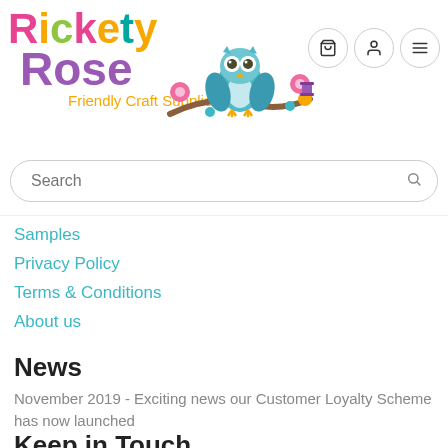[Figure (logo): Rickety Rose Friendly Craft Supplies logo with colorful text and an owl on a branch with flowers]
Search
Samples
Privacy Policy
Terms & Conditions
About us
News
November 2019 - Exciting news our Customer Loyalty Scheme has now launched
Keep in Touch
Sign up for our newsletter and be the first to know about coupons and special promotions